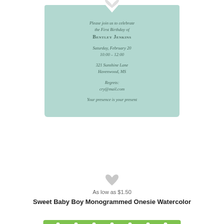[Figure (illustration): A light teal/mint colored birthday invitation card with a heart-shaped notch at the top. The card reads: 'Please join us to celebrate the First Birthday of BENTLEY JENKINS / Saturday, February 20 / 10:00 - 12:00 / 321 Sunshine Lane Havenwood, MS / Regrets: cry@mail.com / Your presence is your present']
[Figure (illustration): A small light gray heart icon used as a decorative separator/wishlist button between the product card and pricing text.]
As low as $1.50
Sweet Baby Boy Monogrammed Onesie Watercolor
[Figure (illustration): Bottom portion of a green polka-dot bordered product card showing pink and white horizontal stripes on a white background with a black border inside.]